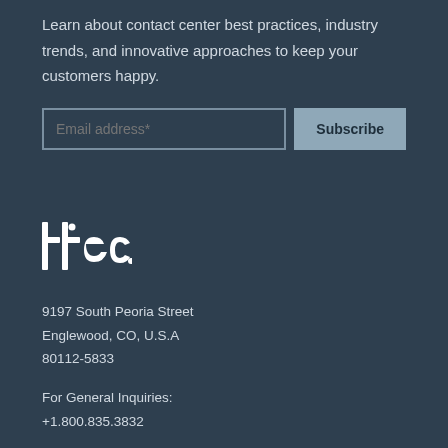Learn about contact center best practices, industry trends, and innovative approaches to keep your customers happy.
Email address*
Subscribe
[Figure (logo): ttec company logo in white on dark background]
9197 South Peoria Street
Englewood, CO, U.S.A
80112-5833
For General Inquiries:
+1.800.835.3832